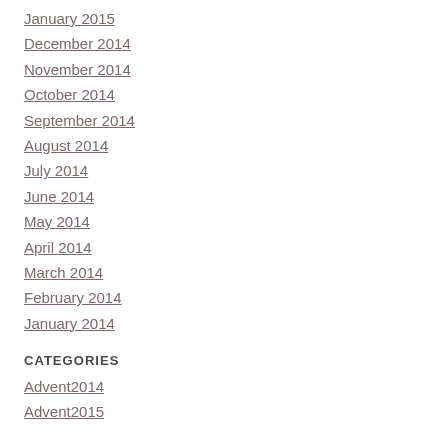January 2015
December 2014
November 2014
October 2014
September 2014
August 2014
July 2014
June 2014
May 2014
April 2014
March 2014
February 2014
January 2014
CATEGORIES
Advent2014
Advent2015